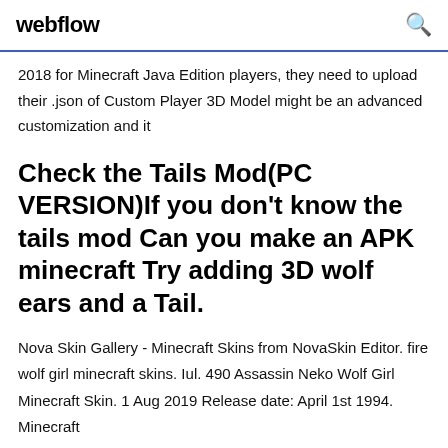webflow
2018 for Minecraft Java Edition players, they need to upload their .json of Custom Player 3D Model might be an advanced customization and it
Check the Tails Mod(PC VERSION)If you don't know the tails mod Can you make an APK minecraft Try adding 3D wolf ears and a Tail.
Nova Skin Gallery - Minecraft Skins from NovaSkin Editor. fire wolf girl minecraft skins. Iul. 490 Assassin Neko Wolf Girl Minecraft Skin. 1 Aug 2019 Release date: April 1st 1994. Minecraft